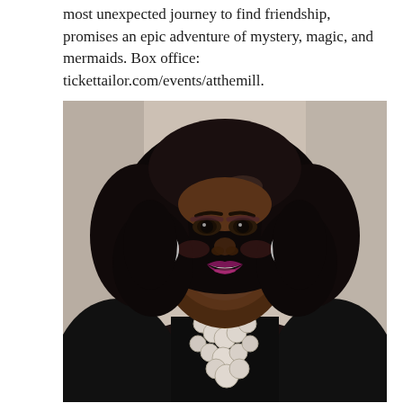most unexpected journey to find friendship, promises an epic adventure of mystery, magic, and mermaids. Box office: tickettailor.com/events/atthemill.
[Figure (photo): Portrait photo of a woman with voluminous dark curly hair, wearing a black fur coat, pearl necklace with large beads, and silver hoop earrings. She has a bright smile with purple lipstick and is posed against a light beige/grey background.]